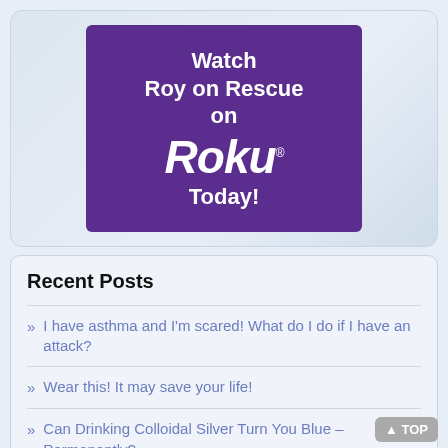[Figure (logo): Purple banner with white text reading 'Watch Roy on Rescue on Roku Today!']
Recent Posts
I have asthma and I'm scared! What do I do if I have an attack?
Wear this! It may save your life!
Can Drinking Colloidal Silver Turn You Blue – Permanently?